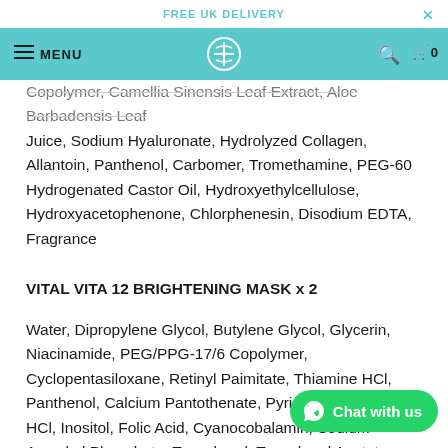FREE UK DELIVERY
Copolymer, Camellia Sinensis Leaf Extract, Aloe Barbadensis Leaf Juice, Sodium Hyaluronate, Hydrolyzed Collagen, Allantoin, Panthenol, Carbomer, Tromethamine, PEG-60 Hydrogenated Castor Oil, Hydroxyethylcellulose, Hydroxyacetophenone, Chlorphenesin, Disodium EDTA, Fragrance
VITAL VITA 12 BRIGHTENING MASK x 2
Water, Dipropylene Glycol, Butylene Glycol, Glycerin, Niacinamide, PEG/PPG-17/6 Copolymer, Cyclopentasiloxane, Retinyl Paimitate, Thiamine HCl, Panthenol, Calcium Pantothenate, Pyridoxine, Pyridoxine HCl, Inositol, Folic Acid, Cyanocobalamin, Sodium Ascorbyl Phosphate, Tocopherol, Tocopheryl Acetate, Linoleic Acid, Glyceryl Linotenate, Glyceryl Arachidonate, Biotin, Adenosine, Allantoin, Betaine, Sodium Starch Octenylsuccinate, Silica, Bis-PEG-18 Methyl Ether Dimethyl Silane, C14-22 Alcohols, C12-20 Alkyl Glucoside